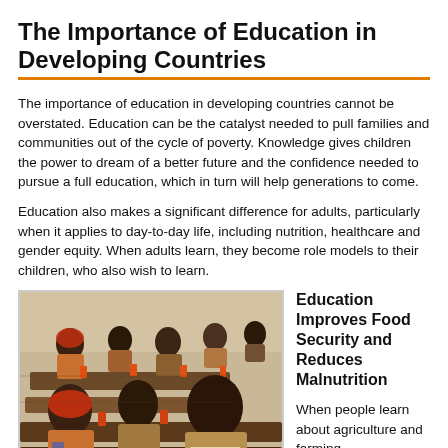The Importance of Education in Developing Countries
The importance of education in developing countries cannot be overstated. Education can be the catalyst needed to pull families and communities out of the cycle of poverty. Knowledge gives children the power to dream of a better future and the confidence needed to pursue a full education, which in turn will help generations to come.
Education also makes a significant difference for adults, particularly when it applies to day-to-day life, including nutrition, healthcare and gender equity. When adults learn, they become role models to their children, who also wish to learn.
[Figure (photo): Children and adults seated at wooden desks in a rustic classroom setting, studying and eating, in what appears to be a developing country school environment.]
Education Improves Food Security and Reduces Malnutrition
When people learn about agriculture and farming